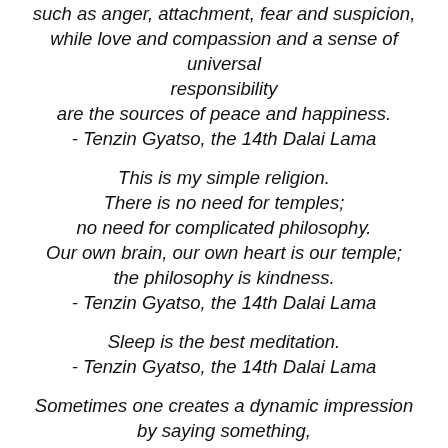such as anger, attachment, fear and suspicion, while love and compassion and a sense of universal responsibility are the sources of peace and happiness. - Tenzin Gyatso, the 14th Dalai Lama
This is my simple religion. There is no need for temples; no need for complicated philosophy. Our own brain, our own heart is our temple; the philosophy is kindness. - Tenzin Gyatso, the 14th Dalai Lama
Sleep is the best meditation. - Tenzin Gyatso, the 14th Dalai Lama
Sometimes one creates a dynamic impression by saying something, and sometimes one creates as significant an impression by remaining silent. - Tenzin Gyatso, the 14th Dalai Lama
Today, more than ever before, life must be characterized by a sense of Universal responsibility, not only nation to nation and human to human, but also human to other forms of life.